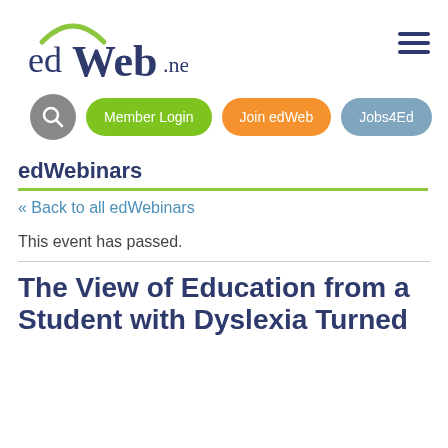[Figure (logo): edWeb.net logo with green arc above 'ed' text]
[Figure (other): Hamburger menu icon with three horizontal lines]
[Figure (other): Navigation buttons: search icon, Member Login (green), Join edWeb (orange), Jobs4Ed (blue-gray)]
edWebinars
« Back to all edWebinars
This event has passed.
The View of Education from a Student with Dyslexia Turned